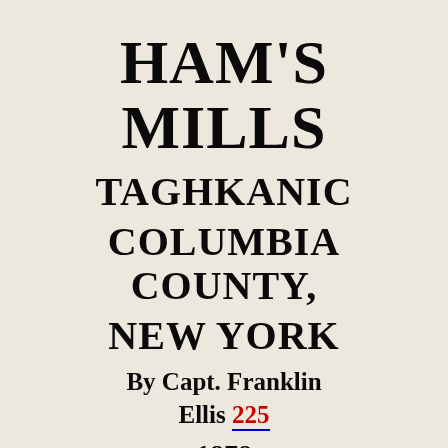HAM'S MILLS TAGHKANIC COLUMBIA COUNTY, NEW YORK By Capt. Franklin Ellis 225
1878